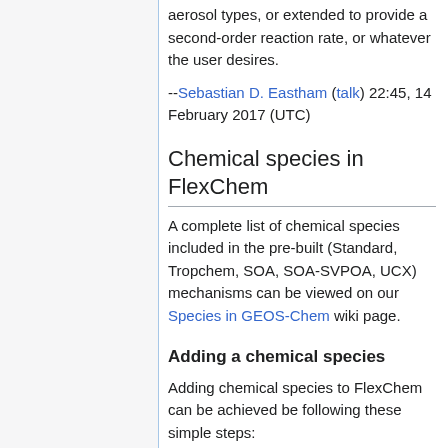aerosol types, or extended to provide a second-order reaction rate, or whatever the user desires.
--Sebastian D. Eastham (talk) 22:45, 14 February 2017 (UTC)
Chemical species in FlexChem
A complete list of chemical species included in the pre-built (Standard, Tropchem, SOA, SOA-SVPOA, UCX) mechanisms can be viewed on our Species in GEOS-Chem wiki page.
Adding a chemical species
Adding chemical species to FlexChem can be achieved be following these simple steps: